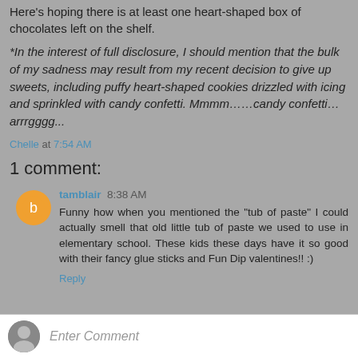Here's hoping there is at least one heart-shaped box of chocolates left on the shelf.
*In the interest of full disclosure, I should mention that the bulk of my sadness may result from my recent decision to give up sweets, including puffy heart-shaped cookies drizzled with icing and sprinkled with candy confetti. Mmmm……candy confetti…arrrgggg...
Chelle at 7:54 AM
1 comment:
tamblair 8:38 AM
Funny how when you mentioned the "tub of paste" I could actually smell that old little tub of paste we used to use in elementary school. These kids these days have it so good with their fancy glue sticks and Fun Dip valentines!! :)
Reply
Enter Comment